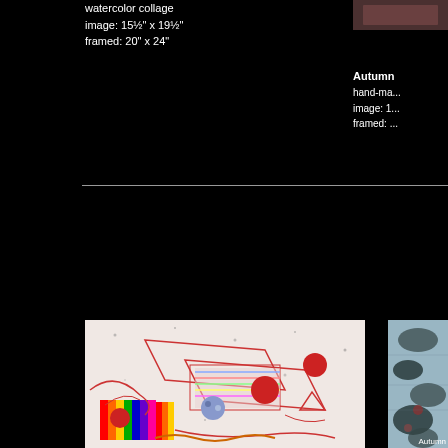watercolor collage
image: 15½" x 19½"
framed: 20" x 24"
[Figure (photo): Small artwork photo thumbnail at top right]
Autumn
hand-ma...
image: 1...
framed: ...
[Figure (photo): Abstract colorful artwork with red circles, rainbow stripes, and expressive lines on light background]
[Figure (photo): Partial view of textured artwork at far right, blue and dark tones]